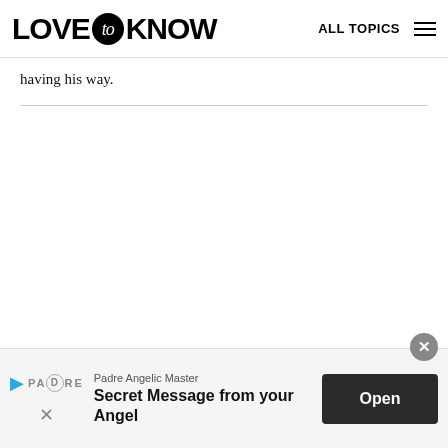LOVE to KNOW  ALL TOPICS
having his way.
[Figure (other): Advertisement banner: Padre Angelic Master — Secret Message from your Angel, with Open button and close (x) icon]